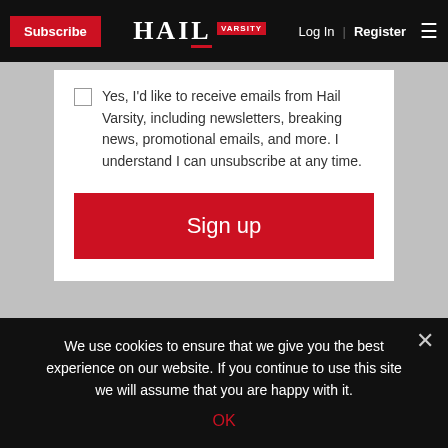Subscribe | HAIL VARSITY | Log In | Register
Yes, I'd like to receive emails from Hail Varsity, including newsletters, breaking news, promotional emails, and more. I understand I can unsubscribe at any time.
Sign up
Tags: Callie Schwarzenbach, John Cook, Kayla Caffey,
We use cookies to ensure that we give you the best experience on our website. If you continue to use this site we will assume that you are happy with it.
OK